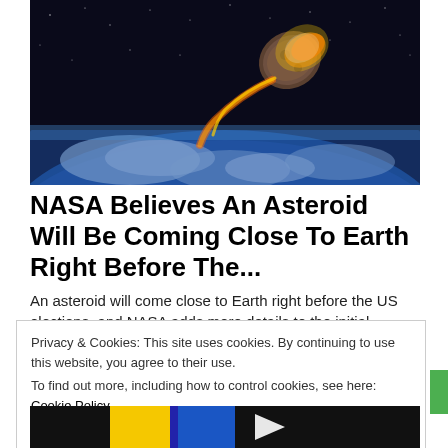[Figure (photo): Illustration of a flaming asteroid approaching Earth from space, with the blue curve of Earth visible at the bottom of the image and a dark starry sky in the background.]
NASA Believes An Asteroid Will Be Coming Close To Earth Right Before The...
An asteroid will come close to Earth right before the US elections, and NASA adds more details to the initial …
Blindfold
Privacy & Cookies: This site uses cookies. By continuing to use this website, you agree to their use.
To find out more, including how to control cookies, see here: Cookie Policy
Close and accept
[Figure (logo): Partial view of a colorful logo at the bottom of the page, appears to be yellow, blue and black segments.]